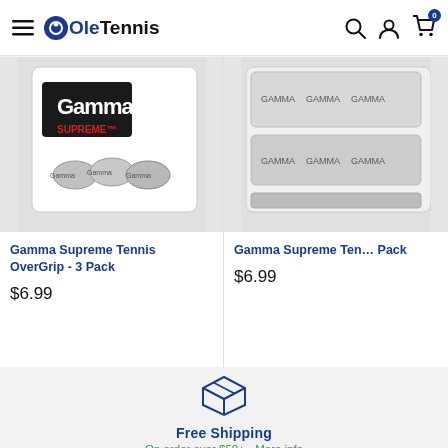Ole Tennis — navigation header with hamburger menu, search, account, and cart icons
[Figure (photo): Gamma Supreme Tennis OverGrip 3-Pack product image showing white grip tape rolls in packaging]
Gamma Supreme Tennis OverGrip - 3 Pack
$6.99
[Figure (photo): Gamma Supreme Tennis OverGrip 3-Pack product image (second variant, partially cropped)]
Gamma Supreme Ten... Pack
$6.99
[Figure (illustration): Shipping box icon (outline style, blue)]
Free Shipping
On order over $50+ - More info